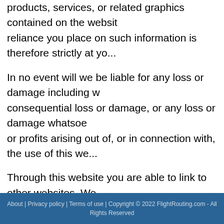products, services, or related graphics contained on the website. Any reliance you place on such information is therefore strictly at yo...
In no event will we be liable for any loss or damage including w... consequential loss or damage, or any loss or damage whatsoever... or profits arising out of, or in connection with, the use of this we...
Through this website you are able to link to other websites. We... nature, content and availability of those sites. The inclusion of a... imply a recommendation or endorse the views expressed withi...
We take no responsibility for, and will not be liable for, the webs... unavailable due to technical issues beyond our control.
About | Privacy policy | Terms of use | Copyright © 2022 FlightRouting.com - All Rights Reserved